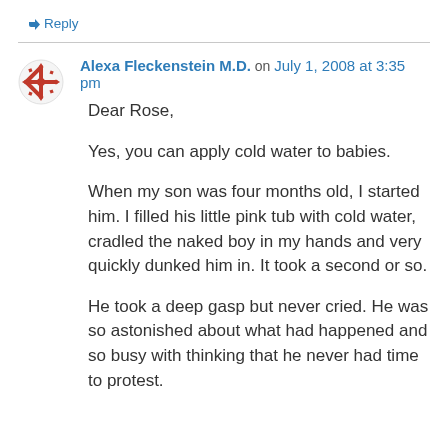↳ Reply
Alexa Fleckenstein M.D. on July 1, 2008 at 3:35 pm
Dear Rose,

Yes, you can apply cold water to babies.

When my son was four months old, I started him. I filled his little pink tub with cold water, cradled the naked boy in my hands and very quickly dunked him in. It took a second or so.

He took a deep gasp but never cried. He was so astonished about what had happened and so busy with thinking that he never had time to protest.